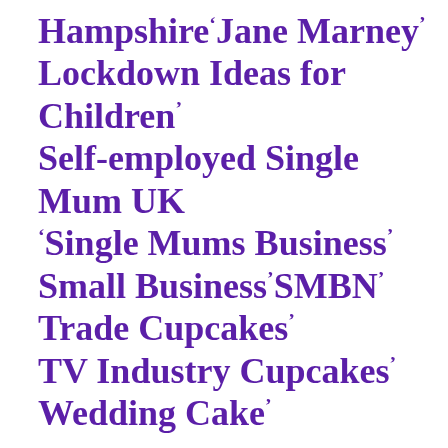Hampshire Jane Marney
Lockdown Ideas for Children
Self-employed Single Mum UK
Single Mums Business
Small Business SMBN
Trade Cupcakes
TV Industry Cupcakes
Wedding Cake